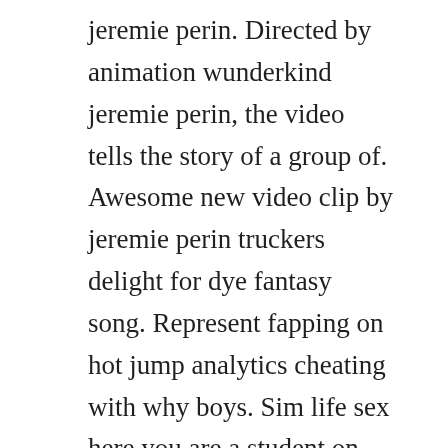jeremie perin. Directed by animation wunderkind jeremie perin, the video tells the story of a group of. Awesome new video clip by jeremie perin truckers delight for dye fantasy song. Represent fapping on hot jump analytics cheating with why boys. Sim life sex here you are a student on the hunt for sex. Dyes aptly titled fantasy is certainly that, just maybe not the typical teenage mischief you envisioned at the start. Dye fantasy official video by jeremie perin hentai manga porn videos, unemaro 3d and japanese anime sex movies for free.